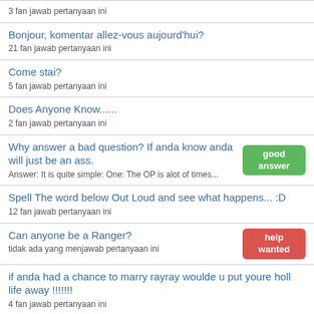3 fan jawab pertanyaan ini
Bonjour, komentar allez-vous aujourd'hui?
21 fan jawab pertanyaan ini
Come stai?
5 fan jawab pertanyaan ini
Does Anyone Know......
2 fan jawab pertanyaan ini
Why answer a bad question? If anda know anda will just be an ass.
Answer: It is quite simple: One: The OP is alot of times... [good answer]
Spell The word below Out Loud and see what happens... :D
12 fan jawab pertanyaan ini
Can anyone be a Ranger?
tidak ada yang menjawab pertanyaan ini [help wanted]
if anda had a chance to marry rayray woulde u put youre holl life away !!!!!!!
4 fan jawab pertanyaan ini
What was your favourite toy as a child?